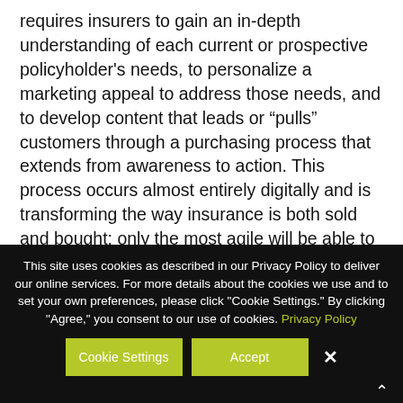requires insurers to gain an in-depth understanding of each current or prospective policyholder's needs, to personalize a marketing appeal to address those needs, and to develop content that leads or “pulls” customers through a purchasing process that extends from awareness to action. This process occurs almost entirely digitally and is transforming the way insurance is both sold and bought; only the most agile will be able to cope with these rapid changes and newer challengers.
This site uses cookies as described in our Privacy Policy to deliver our online services. For more details about the cookies we use and to set your own preferences, please click "Cookie Settings." By clicking "Agree," you consent to our use of cookies. Privacy Policy